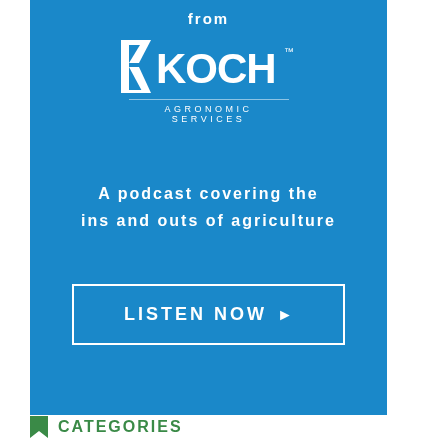[Figure (infographic): Blue advertisement banner for Koch Agronomic Services podcast. Contains 'from' text at top, Koch Agronomic Services logo, tagline 'A podcast covering the ins and outs of agriculture', and a 'LISTEN NOW' button with right-pointing arrow.]
CATEGORIES